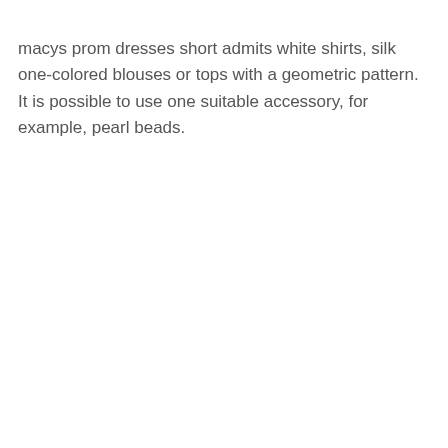macys prom dresses short admits white shirts, silk one-colored blouses or tops with a geometric pattern. It is possible to use one suitable accessory, for example, pearl beads.